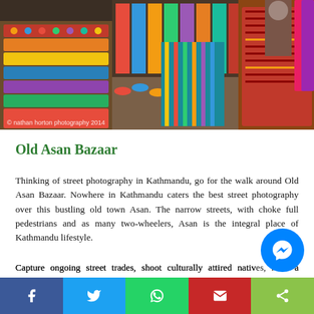[Figure (photo): Colorful street market in Old Asan Bazaar, Kathmandu, with shoes and textiles displayed, and a vendor visible on the right wearing a brown coat. Watermark reads: © nathan horton photography 2014]
Old Asan Bazaar
Thinking of street photography in Kathmandu, go for the walk around Old Asan Bazaar. Nowhere in Kathmandu caters the best street photography over this bustling old town Asan. The narrow streets, with choke full pedestrians and as many two-wheelers, Asan is the integral place of Kathmandu lifestyle.
Capture ongoing street trades, shoot culturally attired natives, have a pleasure shooting the oldest settlement of Kathmandu. Countless hours